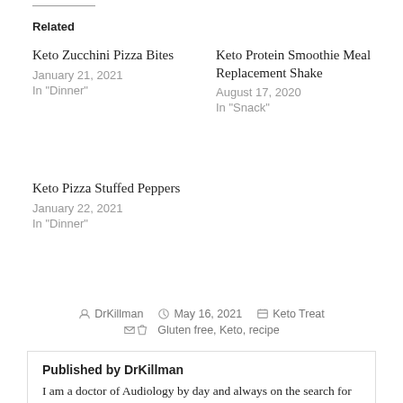Related
Keto Zucchini Pizza Bites
January 21, 2021
In "Dinner"
Keto Protein Smoothie Meal Replacement Shake
August 17, 2020
In "Snack"
Keto Pizza Stuffed Peppers
January 22, 2021
In "Dinner"
By DrKillman  May 16, 2021  Keto Treat  Gluten free, Keto, recipe
Published by DrKillman
I am a doctor of Audiology by day and always on the search for healthy living in and out of the kitchen. I